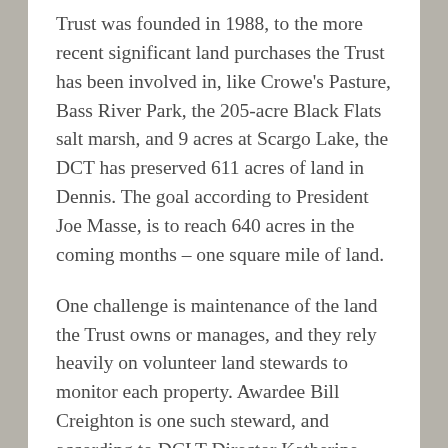Trust was founded in 1988, to the more recent significant land purchases the Trust has been involved in, like Crowe's Pasture, Bass River Park, the 205-acre Black Flats salt marsh, and 9 acres at Scargo Lake, the DCT has preserved 611 acres of land in Dennis. The goal according to President Joe Masse, is to reach 640 acres in the coming months – one square mile of land.
One challenge is maintenance of the land the Trust owns or manages, and they rely heavily on volunteer land stewards to monitor each property. Awardee Bill Creighton is one such steward, and according to DCLT Director Katherine Garofoli, Bill is the go-to guy for any and all volunteer opportunities. He was cited for